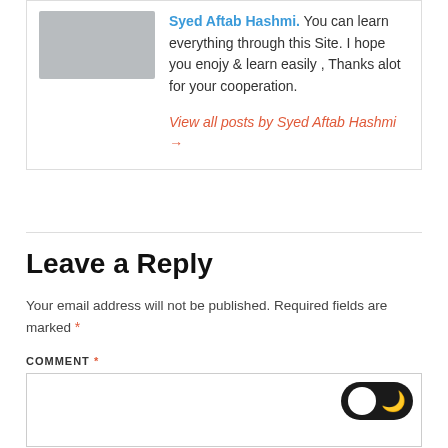Syed Aftab Hashmi. You can learn everything through this Site. I hope you enojy & learn easily , Thanks alot for your cooperation.
View all posts by Syed Aftab Hashmi →
Leave a Reply
Your email address will not be published. Required fields are marked *
COMMENT *